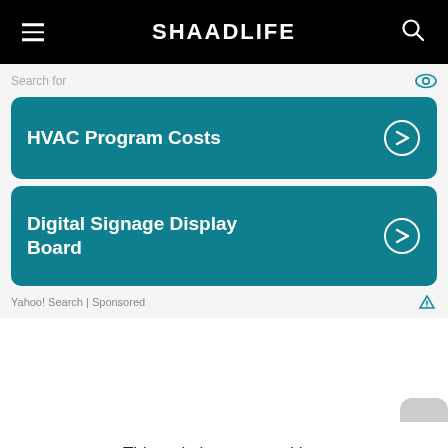SHAADLIFE
Search for
[Figure (screenshot): Ad card with teal background showing 'HVAC Program Costs' with right arrow]
[Figure (screenshot): Ad card with teal background showing 'Digital Signage Display Board' with right arrow]
Yahoo! Search | Sponsored
This website uses cookies.